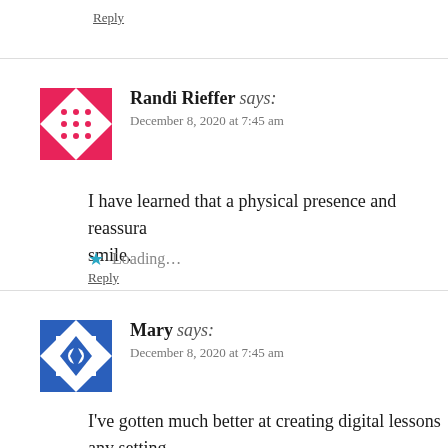Reply
Randi Rieffer says:
December 8, 2020 at 7:45 am
[Figure (illustration): Pink and white geometric avatar for Randi Rieffer]
I have learned that a physical presence and reassura smile.
Loading...
Reply
[Figure (illustration): Blue and white geometric avatar for Mary]
Mary says:
December 8, 2020 at 7:45 am
I've gotten much better at creating digital lessons any setting.